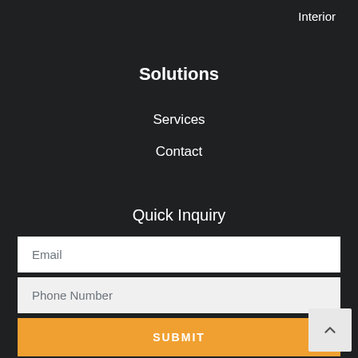Interior
Solutions
Services
Contact
Quick Inquiry
Email
Phone Number
SUBMIT